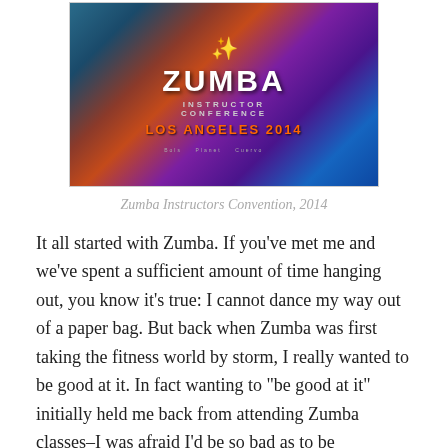[Figure (photo): Zumba Instructors Convention 2014 banner/sign with colorful purple and orange background, showing the Zumba logo, 'INSTRUCTOR CONFERENCE', and 'LOS ANGELES 2014' text with sponsor logos at the bottom]
Zumba Instructors Convention, 2014
It all started with Zumba. If you’ve met me and we’ve spent a sufficient amount of time hanging out, you know it’s true: I cannot dance my way out of a paper bag. But back when Zumba was first taking the fitness world by storm, I really wanted to be good at it. In fact wanting to “be good at it” initially held me back from attending Zumba classes–I was afraid I’d be so bad as to be distracting to the other people, or that in a crowded class